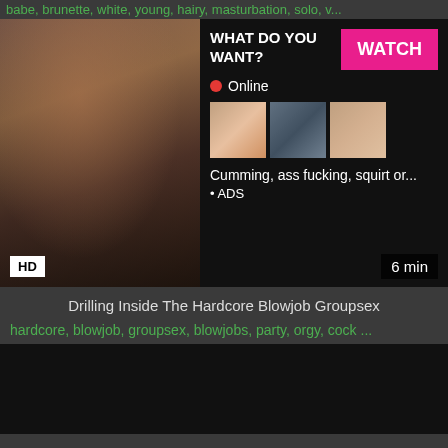babe, brunette, white, young, hairy, masturbation, solo, v...
[Figure (screenshot): Adult video website screenshot with thumbnail, ad overlay, HD badge, 6 min duration label]
Drilling Inside The Hardcore Blowjob Groupsex
hardcore, blowjob, groupsex, blowjobs, party, orgy, cock ...
[Figure (screenshot): Dark video thumbnail block at bottom of page]